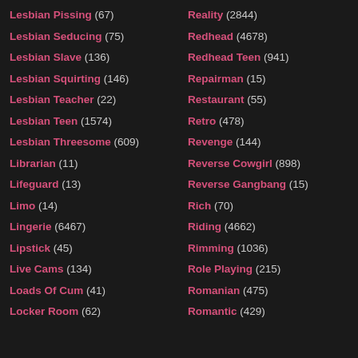Lesbian Pissing (67)
Lesbian Seducing (75)
Lesbian Slave (136)
Lesbian Squirting (146)
Lesbian Teacher (22)
Lesbian Teen (1574)
Lesbian Threesome (609)
Librarian (11)
Lifeguard (13)
Limo (14)
Lingerie (6467)
Lipstick (45)
Live Cams (134)
Loads Of Cum (41)
Locker Room (62)
Reality (2844)
Redhead (4678)
Redhead Teen (941)
Repairman (15)
Restaurant (55)
Retro (478)
Revenge (144)
Reverse Cowgirl (898)
Reverse Gangbang (15)
Rich (70)
Riding (4662)
Rimming (1036)
Role Playing (215)
Romanian (475)
Romantic (429)